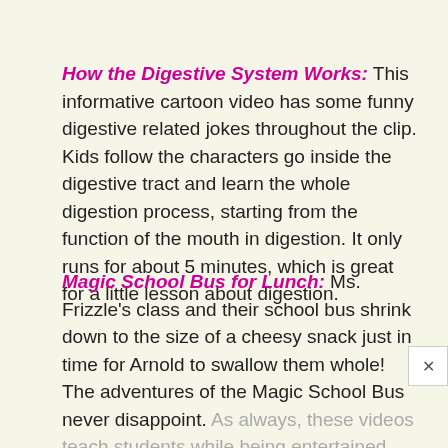How the Digestive System Works: This informative cartoon video has some funny digestive related jokes throughout the clip. Kids follow the characters go inside the digestive tract and learn the whole digestion process, starting from the function of the mouth in digestion. It only runs for about 5 minutes, which is great for a little lesson about digestion.
Magic School Bus for Lunch: Ms. Frizzle's class and their school bus shrink down to the size of a cheesy snack just in time for Arnold to swallow them whole! The adventures of the Magic School Bus never disappoint. As always, these videos teach students while being entertained.